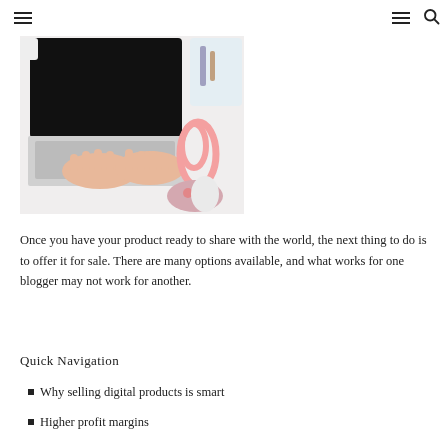≡  ≡ 🔍
[Figure (photo): Overhead view of hands typing on a laptop keyboard on a white desk, with a pink paper clip, floral mousepad, and other stationery items nearby.]
Once you have your product ready to share with the world, the next thing to do is to offer it for sale. There are many options available, and what works for one blogger may not work for another.
Quick Navigation
Why selling digital products is smart
Higher profit margins